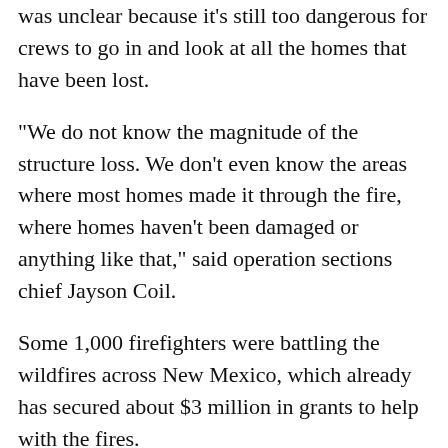was unclear because it's still too dangerous for crews to go in and look at all the homes that have been lost.
"We do not know the magnitude of the structure loss. We don't even know the areas where most homes made it through the fire, where homes haven't been damaged or anything like that," said operation sections chief Jayson Coil.
Some 1,000 firefighters were battling the wildfires across New Mexico, which already has secured about $3 million in grants to help with the fires.
Lujan Grisham said she has asked the White House for more federal resources and she's calling for a ban of fireworks statewide.
"We need more federal bodies for firefighting, fire